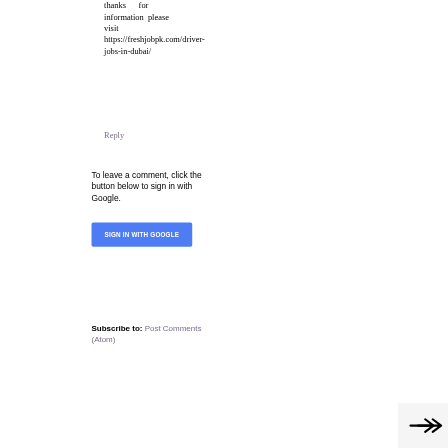thanks for information please visit https://freshjobpk.com/driver-jobs-in-dubai/
Reply
To leave a comment, click the button below to sign in with Google.
[Figure (other): Blue sign in with Google button]
Subscribe to: Post Comments (Atom)
[Figure (other): Share/forward arrow icon in bottom right corner]